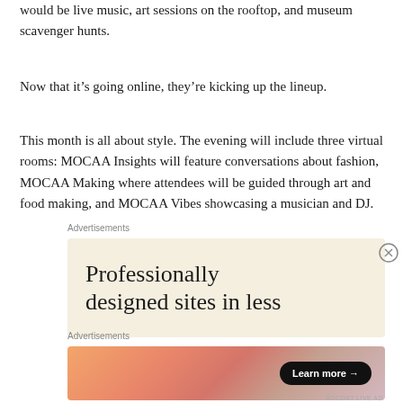would be live music, art sessions on the rooftop, and museum scavenger hunts.
Now that it's going online, they're kicking up the lineup.
This month is all about style. The evening will include three virtual rooms: MOCAA Insights will feature conversations about fashion, MOCAA Making where attendees will be guided through art and food making, and MOCAA Vibes showcasing a musician and DJ.
Advertisements
[Figure (other): Advertisement banner with cream background showing text 'Professionally designed sites in less']
Advertisements
[Figure (other): Advertisement with WordPress VIP logo on white background on left, and gradient orange/pink banner with 'Learn more →' button on right]